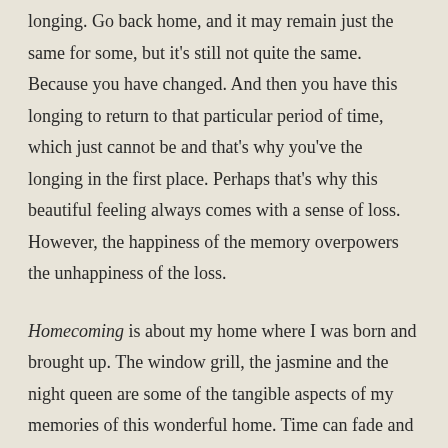longing. Go back home, and it may remain just the same for some, but it's still not quite the same. Because you have changed. And then you have this longing to return to that particular period of time, which just cannot be and that's why you've the longing in the first place. Perhaps that's why this beautiful feeling always comes with a sense of loss. However, the happiness of the memory overpowers the unhappiness of the loss.
Homecoming is about my home where I was born and brought up. The window grill, the jasmine and the night queen are some of the tangible aspects of my memories of this wonderful home. Time can fade and wear out the subject of your memories but not the cherished memories, which remain fresh forever. They are treasures that cannot be given, taken or thrown away. They can be shared, but they are still all yours. They are there for as long as